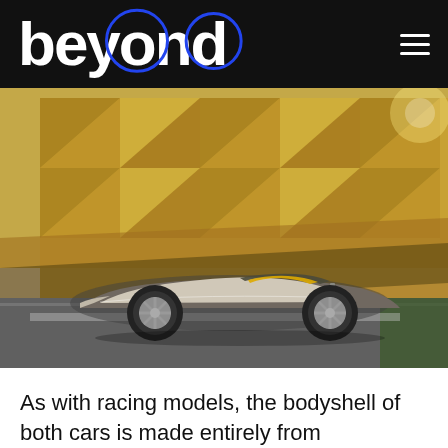beyond
[Figure (photo): A silver Ferrari Monza SP open-top sports car driving in front of a large gold geometric-patterned architectural wall facade, outdoors.]
As with racing models, the bodyshell of both cars is made entirely from lightweight